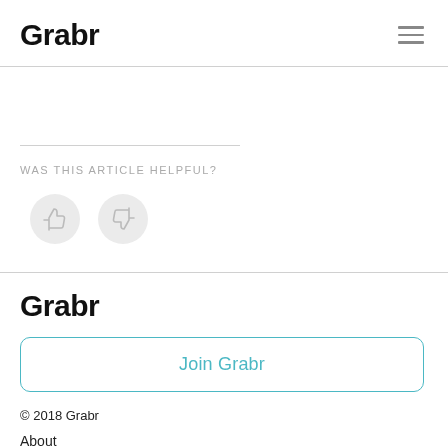Grabr
WAS THIS ARTICLE HELPFUL?
[Figure (illustration): Two circular buttons: a thumbs-up and a thumbs-down icon on light grey circular backgrounds]
Grabr
Join Grabr
© 2018 Grabr
About